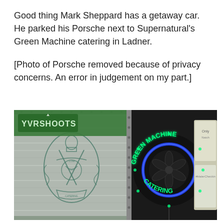Good thing Mark Sheppard has a getaway car. He parked his Porsche next to Supernatural's Green Machine catering in Ladner.
[Photo of Porsche removed because of privacy concerns. An error in judgement on my part.]
[Figure (photo): Photo of Supernatural's Green Machine catering truck. Left side shows a metallic trailer with a decorative crest/logo featuring catering utensils and ornate design. Right side shows a neon sign reading 'GREEN MACHINE CATERING' in glowing green letters arranged in a circular pattern with blue inner ring. A green YVRSHOOTS watermark/logo is visible in the upper left corner of the image.]